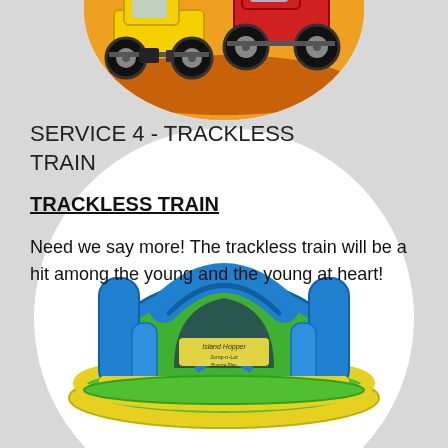[Figure (illustration): Monster trucks illustration in an orange circle at the top of the page — yellow and red monster trucks visible]
SERVICE 4 - TRACKLESS TRAIN
TRACKLESS TRAIN
Need we say more! The trackless train will be a hit among the young and the young at heart!
[Figure (illustration): Colorful inflatable bouncy castle/play structure (Island Hopper brand) in blue, green, and yellow in a white circle at the bottom of the page]